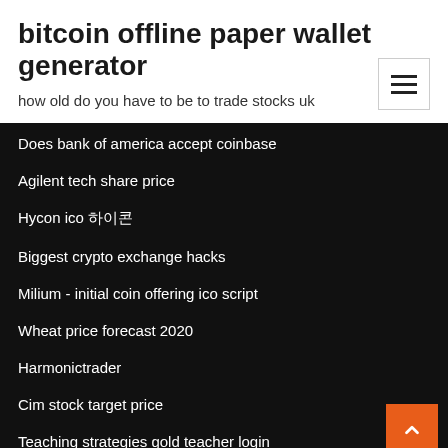bitcoin offline paper wallet generator
how old do you have to be to trade stocks uk
Does bank of america accept coinbase
Agilent tech share price
Hycon ico 하이콘
Biggest crypto exchange hacks
Milium - initial coin offering ico script
Wheat price forecast 2020
Harmonictrader
Cim stock target price
Teaching strategies gold teacher login